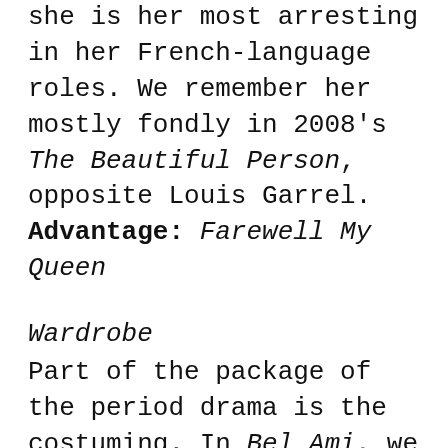she is her most arresting in her French-language roles. We remember her mostly fondly in 2008's The Beautiful Person, opposite Louis Garrel. Advantage: Farewell My Queen
Wardrobe
Part of the package of the period drama is the costuming. In Bel Ami, we get plenty of starched, uncomfortable-looking collars and rakishly worn top hats on the men's side, with carefully curled updos, an excess of décolletage, and silken bustled gowns for the women. Farewell My Queen captures the